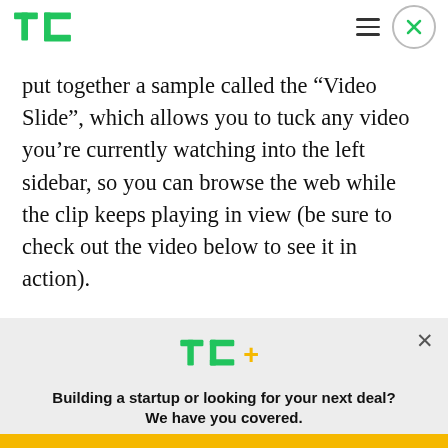TechCrunch
put together a sample called the “Video Slide”, which allows you to tuck any video you’re currently watching into the left sidebar, so you can browse the web while the clip keeps playing in view (be sure to check out the video below to see it in action).
Building a startup or looking for your next deal? We have you covered.
EXPLORE NOW